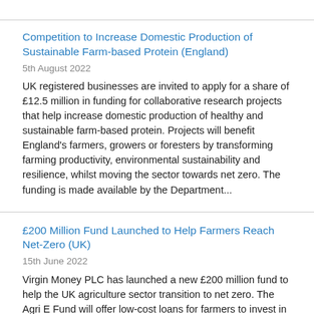Competition to Increase Domestic Production of Sustainable Farm-based Protein (England)
5th August 2022
UK registered businesses are invited to apply for a share of £12.5 million in funding for collaborative research projects that help increase domestic production of healthy and sustainable farm-based protein. Projects will benefit England's farmers, growers or foresters by transforming farming productivity, environmental sustainability and resilience, whilst moving the sector towards net zero. The funding is made available by the Department...
£200 Million Fund Launched to Help Farmers Reach Net-Zero (UK)
15th June 2022
Virgin Money PLC has launched a new £200 million fund to help the UK agriculture sector transition to net zero. The Agri E Fund will offer low-cost loans for farmers to invest in suitable